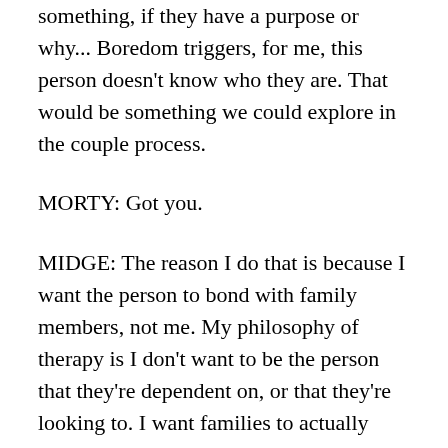something, if they have a purpose or why... Boredom triggers, for me, this person doesn't know who they are. That would be something we could explore in the couple process.
MORTY: Got you.
MIDGE: The reason I do that is because I want the person to bond with family members, not me. My philosophy of therapy is I don't want to be the person that they're dependent on, or that they're looking to. I want families to actually work together, and learn how to communicate, so they can use each other as a support system.
If we know anything about Harville Hendrix,